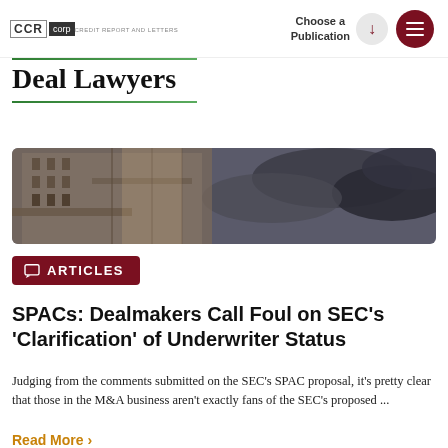CCR corp | Deal Lawyers | Choose a Publication
Deal Lawyers
[Figure (photo): Upward angle photo of a tall building facade with dark cloudy sky]
ARTICLES
SPACs: Dealmakers Call Foul on SEC's 'Clarification' of Underwriter Status
Judging from the comments submitted on the SEC's SPAC proposal, it's pretty clear that those in the M&A business aren't exactly fans of the SEC's proposed ...